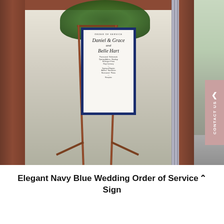[Figure (photo): Outdoor wedding order of service sign displayed on a copper/rose-gold easel stand in front of a barn. The sign has a navy blue frame with a white interior showing calligraphy names and wedding program text. White flowers and greenery decorate the top of the sign. A grass lawn and barn structure are visible in the background. A dusty rose 'CONTACT US' button with a chevron icon is visible on the right edge.]
Elegant Navy Blue Wedding Order of Service Sign